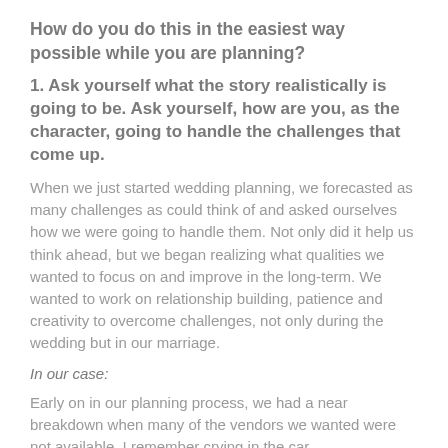How do you do this in the easiest way possible while you are planning?
1. Ask yourself what the story realistically is going to be. Ask yourself, how are you, as the character, going to handle the challenges that come up.
When we just started wedding planning, we forecasted as many challenges as could think of and asked ourselves how we were going to handle them. Not only did it help us think ahead, but we began realizing what qualities we wanted to focus on and improve in the long-term. We wanted to work on relationship building, patience and creativity to overcome challenges, not only during the wedding but in our marriage.
In our case:
Early on in our planning process, we had a near breakdown when many of the vendors we wanted were not available. I remember crying in the car